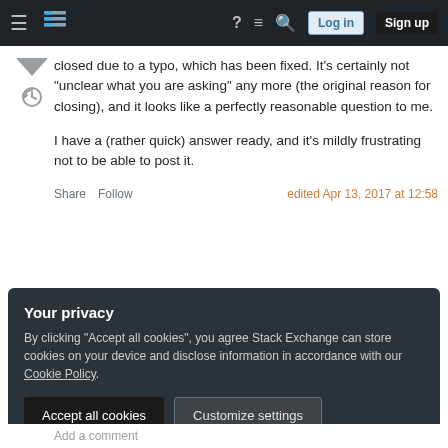Stack Exchange navigation bar with hamburger menu, logo, help, chat, search, Log in, Sign up
closed due to a typo, which has been fixed. It's certainly not "unclear what you are asking" any more (the original reason for closing), and it looks like a perfectly reasonable question to me.

I have a (rather quick) answer ready, and it's mildly frustrating not to be able to post it.
Share  Follow    edited Apr 13, 2017 at 12:58
Your privacy
By clicking "Accept all cookies", you agree Stack Exchange can store cookies on your device and disclose information in accordance with our Cookie Policy.
Accept all cookies   Customize settings
Add a comment